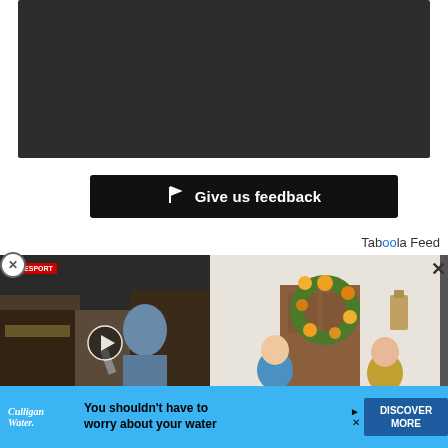[Figure (screenshot): Dark gray/charcoal banner area at the top of the page, likely a video player or content block with dark background]
[Figure (screenshot): Black button with white flag icon and text 'Give us feedback']
Taboola Feed
[Figure (photo): Media strip with two images side by side: left shows a man being interviewed on a street (video thumbnail with play button, GiveSport logo overlay), right shows two women in blue uniforms standing at a door with a fall wreath]
[Figure (screenshot): Blue advertisement banner at bottom: Culligan Water logo, text 'You shouldn't have to worry about your water', and a blue 'DISCOVER MORE' button]